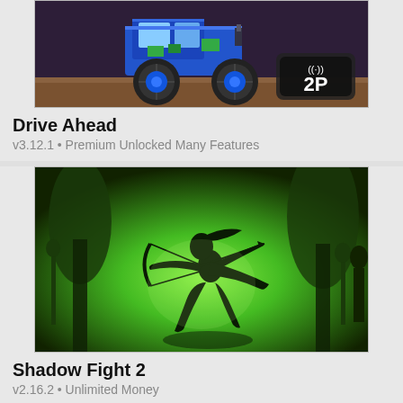[Figure (screenshot): Drive Ahead game screenshot showing a pixelated blue monster truck on a dark background with a wifi/2P multiplayer badge in the bottom right corner]
Drive Ahead
v3.12.1 • Premium Unlocked Many Features
[Figure (screenshot): Shadow Fight 2 game screenshot showing a black silhouette of a ninja/fighter with a bow against a glowing green forest background with other silhouetted warriors]
Shadow Fight 2
v2.16.2 • Unlimited Money